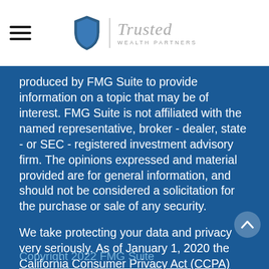[Figure (logo): Trusted Wealth Partners logo with shield icon, italic script 'Trusted' and 'WEALTH PARTNERS' text]
produced by FMG Suite to provide information on a topic that may be of interest. FMG Suite is not affiliated with the named representative, broker - dealer, state - or SEC - registered investment advisory firm. The opinions expressed and material provided are for general information, and should not be considered a solicitation for the purchase or sale of any security.
We take protecting your data and privacy very seriously. As of January 1, 2020 the California Consumer Privacy Act (CCPA) suggests the following link as an extra measure to safeguard your data: Do not sell my personal information
Copyright 2022 FMG Suite